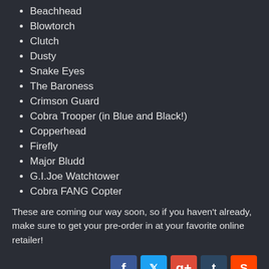Beachhead
Blowtorch
Clutch
Dusty
Snake Eyes
The Baroness
Crimson Guard
Cobra Trooper (in Blue and Black!)
Copperhead
Firefly
Major Bludd
G.I.Joe Watchtower
Cobra FANG Copter
These are coming our way soon, so if you haven't already, make sure to get your pre-order in at your favorite online retailer!
› Views: 5601    Discuss on the HissTank Forums
« Previous Page    Next Page »